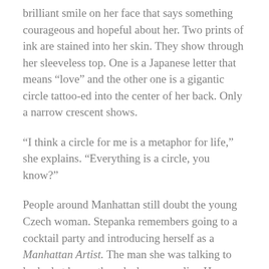brilliant smile on her face that says something courageous and hopeful about her. Two prints of ink are stained into her skin. They show through her sleeveless top. One is a Japanese letter that means “love” and the other one is a gigantic circle tattoo-ed into the center of her back. Only a narrow crescent shows.
“I think a circle for me is a metaphor for life,” she explains. “Everything is a circle, you know?”
People around Manhattan still doubt the young Czech woman. Stepanka remembers going to a cocktail party and introducing herself as a Manhattan Artist. The man she was talking to looked at her as though she were a liar. He didn’t believe her. Being a potter in Manhattan defies the odds of almost-inevitable failure that so many assume to be the status quo in a city that is more notorious for swallowing